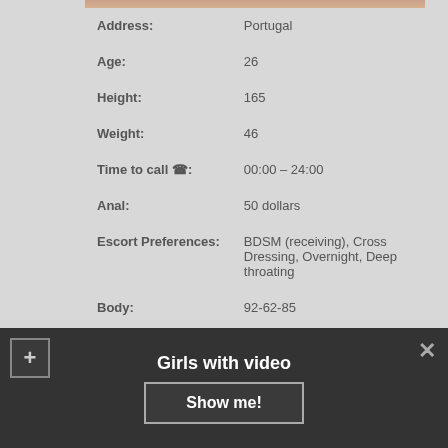| Field | Value |
| --- | --- |
| Address: | Portugal |
| Age: | 26 |
| Height: | 165 |
| Weight: | 46 |
| Time to call ☎: | 00:00 – 24:00 |
| Anal: | 50 dollars |
| Escort Preferences: | BDSM (receiving), Cross Dressing, Overnight, Deep throating |
| Body: | 92-62-85 |
| 1hr: | 130 |
Girls with video
Show me!